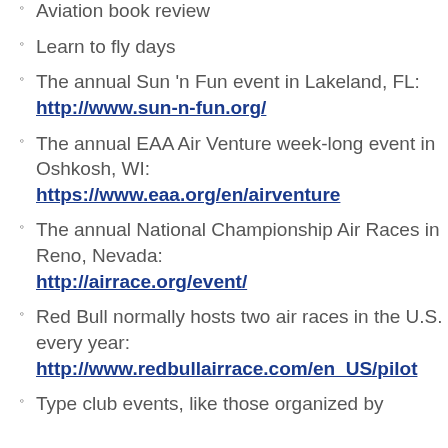Aviation book review
Learn to fly days
The annual Sun 'n Fun event in Lakeland, FL: http://www.sun-n-fun.org/
The annual EAA Air Venture week-long event in Oshkosh, WI: https://www.eaa.org/en/airventure
The annual National Championship Air Races in Reno, Nevada: http://airrace.org/event/
Red Bull normally hosts two air races in the U.S. every year: http://www.redbullairrace.com/en_US/pilot
Type club events, like those organized by